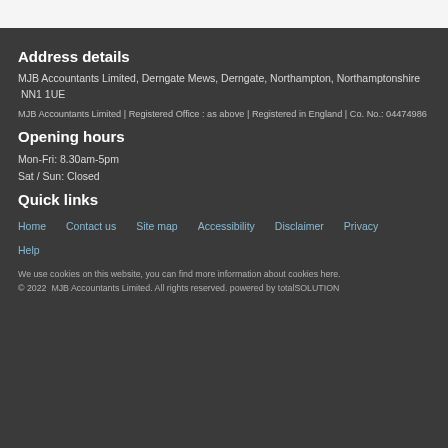Address details
MJB Accountants Limited, Derngate Mews, Derngate, Northampton, Northamptonshire  NN1 1UE
MJB Accountants Limited | Registered Office : as above | Registered in England | Co. No.: 04474986
Opening hours
Mon-Fri: 8.30am-5pm
Sat / Sun: Closed
Quick links
Home
Contact us
Site map
Accessibility
Disclaimer
Privacy
Help
We use cookies on this website, you can find more information about cookies here.
© 2022  MJB Accountants Limited. All rights reserved. powered by totalSOLUTION